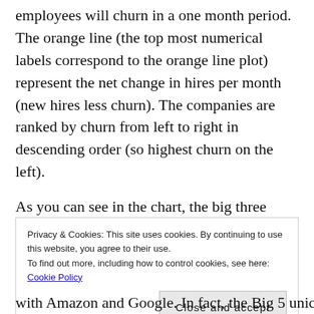employees will churn in a one month period. The orange line (the top most numerical labels correspond to the orange line plot) represent the net change in hires per month (new hires less churn). The companies are ranked by churn from left to right in descending order (so highest churn on the left).
As you can see in the chart, the big three companies included in this analysis are Amazon, Apple and Google. The unicorns are Uber, Lyft, Airbnb, Pinterest and Snapchat. “Big 5” combines these unicorns together as if they were one whole company. Also note, this is looking at
Privacy & Cookies: This site uses cookies. By continuing to use this website, you agree to their use. To find out more, including how to control cookies, see here: Cookie Policy
Close and accept
with Amazon and Google. In fact, the Big 5 unicorns